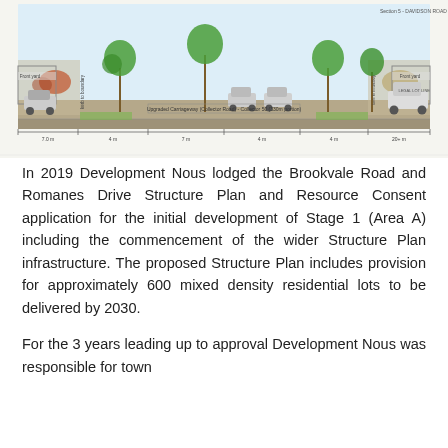[Figure (engineering-diagram): Cross-section diagram of Davidson Road Upgrade showing road carriageway with trees, front yards, cars, and footpaths. Labels indicate upgraded carriageway (Collector Road), dimensions for lanes and kerbs, with 'Front yard' areas on each side and 'Section 5 - DAVIDSON ROAD UPGRADE' noted in the top right.]
In 2019 Development Nous lodged the Brookvale Road and Romanes Drive Structure Plan and Resource Consent application for the initial development of Stage 1 (Area A) including the commencement of the wider Structure Plan infrastructure. The proposed Structure Plan includes provision for approximately 600 mixed density residential lots to be delivered by 2030.
For the 3 years leading up to approval Development Nous was responsible for town